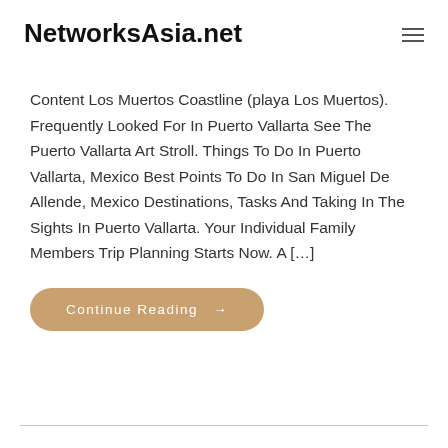NetworksAsia.net
Content Los Muertos Coastline (playa Los Muertos). Frequently Looked For In Puerto Vallarta See The Puerto Vallarta Art Stroll. Things To Do In Puerto Vallarta, Mexico Best Points To Do In San Miguel De Allende, Mexico Destinations, Tasks And Taking In The Sights In Puerto Vallarta. Your Individual Family Members Trip Planning Starts Now. A […]
Continue Reading →